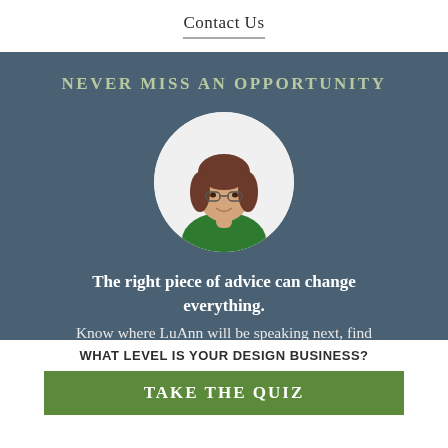Contact Us
NEVER MISS AN OPPORTUNITY
[Figure (photo): Circular headshot of a woman with brown hair wearing glasses and a green jacket, smiling, on a white background.]
The right piece of advice can change everything. Know where LuAnn will be speaking next, find
WHAT LEVEL IS YOUR DESIGN BUSINESS?
TAKE THE QUIZ